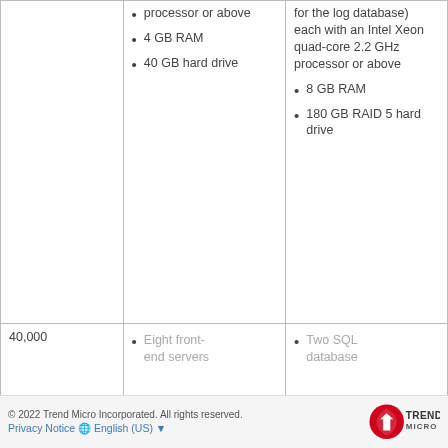|  | Front-end servers | SQL database servers |
| --- | --- | --- |
|  | • processor or above
• 4 GB RAM
• 40 GB hard drive | for the log database) each with an Intel Xeon quad-core 2.2 GHz processor or above
• 8 GB RAM
• 180 GB RAID 5 hard drive |
| 40,000 | • Eight front-end servers | • Two SQL database |
© 2022 Trend Micro Incorporated. All rights reserved. Privacy Notice  English (US)